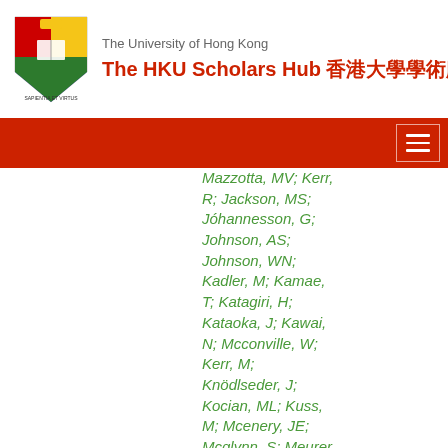The University of Hong Kong — The HKU Scholars Hub 香港大學學術庫
Mazzotta, MV; Kerr, R; Jackson, MS; Jóhannesson, G; Johnson, AS; Johnson, WN; Kadler, M; Kamae, T; Katagiri, H; Kataoka, J; Kawai, N; Mcconville, W; Kerr, M; Knödlseder, J; Kocian, ML; Kuss, M; Mcenery, JE; Mcglynn, S; Meurer, C; Michelson, PF; Mitthumsiri, W; Blandford, RD; Mizuno, T; Moiseev,